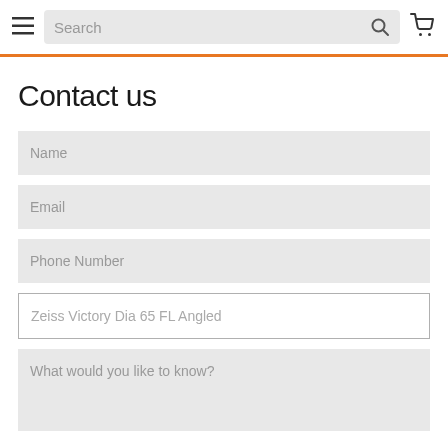Search
Contact us
Name
Email
Phone Number
Zeiss Victory Dia 65 FL Angled
What would you like to know?